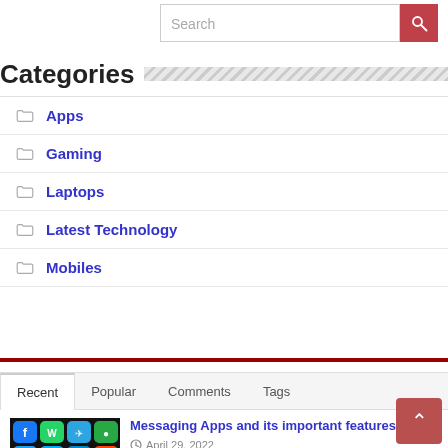[Figure (screenshot): Search input box with red search button containing magnifying glass icon]
Categories
Apps
Gaming
Laptops
Latest Technology
Mobiles
Recent | Popular | Comments | Tags
[Figure (photo): Thumbnail image of smartphone apps icons including Facebook, Twitter, WhatsApp, Skype and other messaging apps on dark background]
Messaging Apps and its important features
April 29, 2022